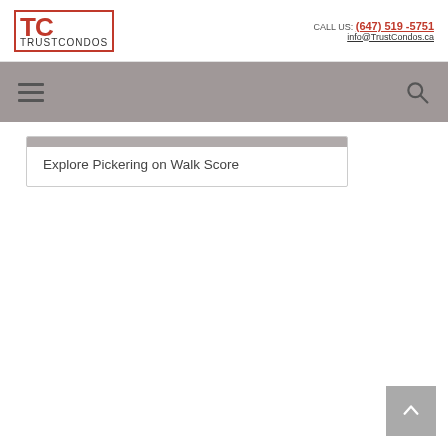CALL US: (647) 519 -5751 | info@TrustCondos.ca
Explore Pickering on Walk Score